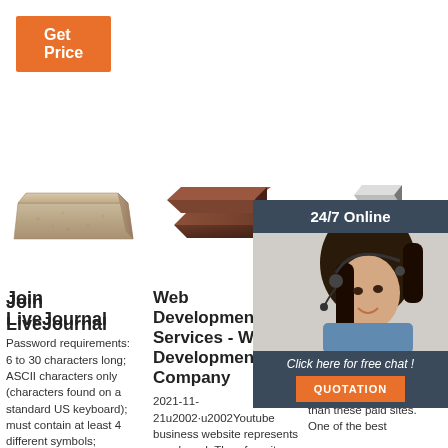[Figure (other): Orange 'Get Price' button]
[Figure (photo): A beige/tan brick or foam block on white background]
[Figure (photo): Two dark brown chocolate or soap bars stacked on white background]
[Figure (photo): Gray blocks and a woman with headset (24/7 online chat customer service widget)]
Join LiveJournal
Password requirements: 6 to 30 characters long; ASCII characters only (characters found on a standard US keyboard); must contain at least 4 different symbols;
Web Development Services - Web Development Company
2021-11-21u2002·u2002Youtube business website represents your brand. Therefore, its functional
Indian Movie Desi House XXX Homemade ...
The good news is tube porn sites are able to have far more videos than these paid sites. One of the best